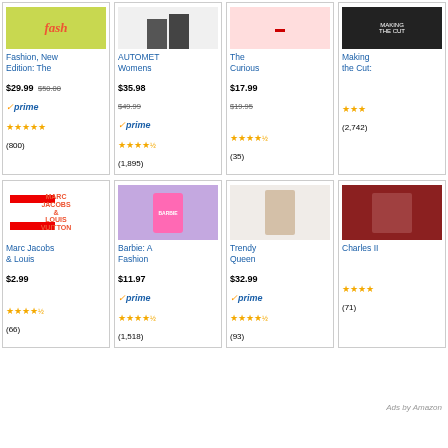[Figure (screenshot): Amazon product listing grid showing 8 fashion-related products in 2 rows of 4 cards each]
Fashion, New Edition: The
$29.99 $50.00 prime ★★★★★ (800)
AUTOMET Womens
$35.98 $49.99 prime ★★★★½ (1,895)
The Curious
$17.99 $19.95 ★★★★½ (35)
Making the Cut:
★★★ (2,742)
Marc Jacobs & Louis
$2.99 ★★★★½ (66)
Barbie: A Fashion
$11.97 prime ★★★★½ (1,518)
Trendy Queen
$32.99 prime ★★★★½ (93)
Charles II
★★★★ (71)
Ads by Amazon